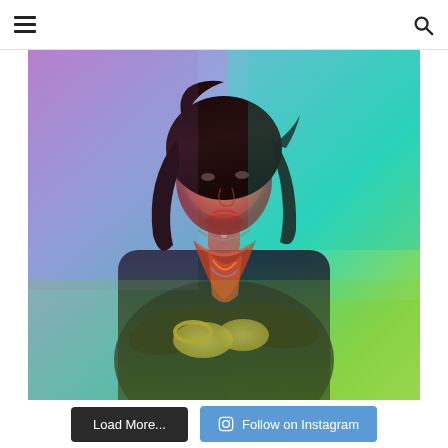☰  🔍
[Figure (photo): A person with long dark hair, wearing a dark jacket and colorful scarf/bandana, arms crossed, bathed in vivid multi-color lighting — purple, teal/cyan, yellow-green — dramatic artistic portrait photo.]
Load More...
Follow on Instagram